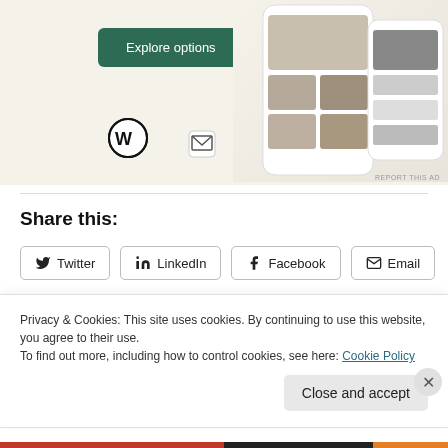[Figure (screenshot): Advertisement banner with 'Explore options' green button, WordPress logo, and food app mockup screenshots on beige background]
Share this:
Twitter share button
LinkedIn share button
Facebook share button
Email share button
Like button with user avatars
Privacy & Cookies: This site uses cookies. By continuing to use this website, you agree to their use.
To find out more, including how to control cookies, see here: Cookie Policy
Close and accept